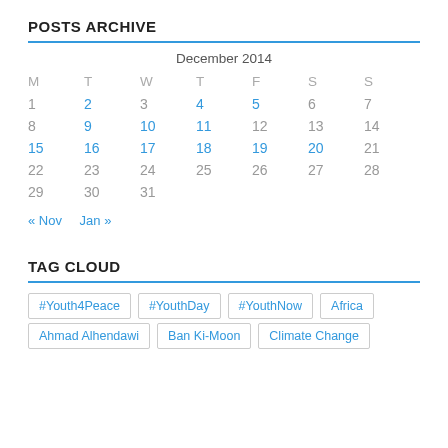POSTS ARCHIVE
| M | T | W | T | F | S | S |
| --- | --- | --- | --- | --- | --- | --- |
| 1 | 2 | 3 | 4 | 5 | 6 | 7 |
| 8 | 9 | 10 | 11 | 12 | 13 | 14 |
| 15 | 16 | 17 | 18 | 19 | 20 | 21 |
| 22 | 23 | 24 | 25 | 26 | 27 | 28 |
| 29 | 30 | 31 |  |  |  |  |
« Nov   Jan »
TAG CLOUD
#Youth4Peace
#YouthDay
#YouthNow
Africa
Ahmad Alhendawi
Ban Ki-Moon
Climate Change